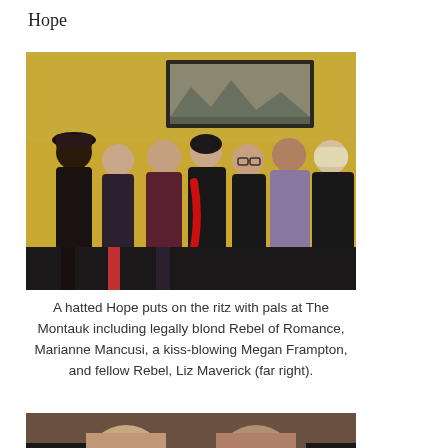Hope
[Figure (photo): Group photo of women in costume/fancy dress at The Montauk venue, including Hope wearing a hat, Marianne Mancusi, Megan Frampton, and Liz Maverick (far right). Yellow walls, framed picture in background.]
A hatted Hope puts on the ritz with pals at The Montauk including legally blond Rebel of Romance, Marianne Mancusi, a kiss-blowing Megan Frampton, and fellow Rebel, Liz Maverick (far right).
[Figure (photo): Partial photo visible at bottom of page, cropped.]